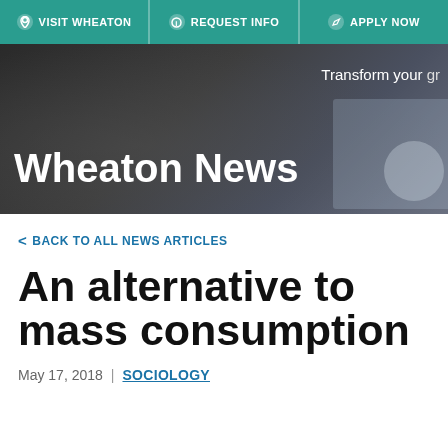VISIT WHEATON | REQUEST INFO | APPLY NOW
[Figure (photo): Dark blurred hero banner with text 'Wheaton News' overlaid in white, and 'Transform your' text visible in upper right with a partial card image]
Wheaton News
< BACK TO ALL NEWS ARTICLES
An alternative to mass consumption
May 17, 2018 | SOCIOLOGY